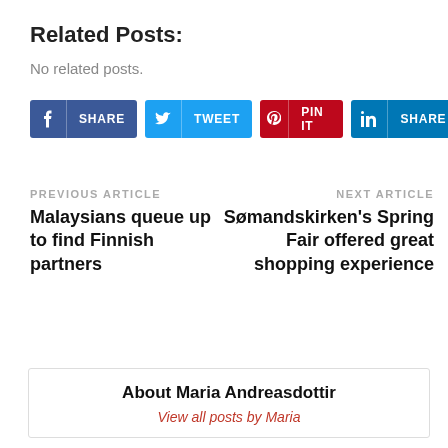Related Posts:
No related posts.
[Figure (other): Social share buttons: Facebook Share, Twitter Tweet, Pinterest Pin It, LinkedIn Share]
PREVIOUS ARTICLE
Malaysians queue up to find Finnish partners
NEXT ARTICLE
Sømandskirken's Spring Fair offered great shopping experience
About Maria Andreasdottir
View all posts by Maria